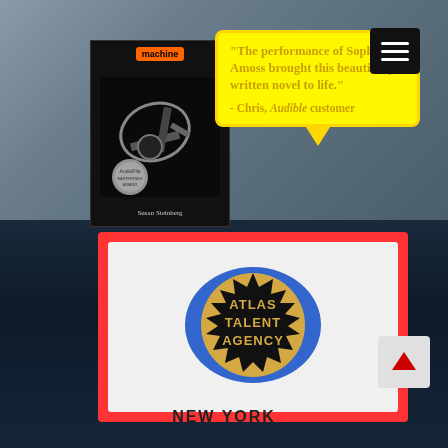[Figure (photo): Book cover of 'Machine' by Susan Steinberg, dark cover with abstract imagery, AudioFile Earphones Award badge]
"The performance of Sophie Amoss brought this beautifully written novel to life." - Chris, Audible customer
[Figure (logo): Atlas Talent Agency logo — blue blob shape with black starburst containing gold/tan halftone text 'ATLAS TALENT AGENCY']
NEW YORK